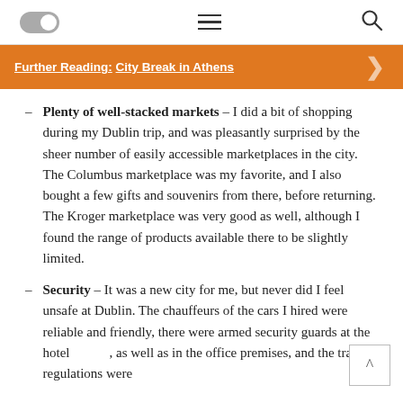[toggle] [menu] [search]
Further Reading: City Break in Athens
Plenty of well-stacked markets – I did a bit of shopping during my Dublin trip, and was pleasantly surprised by the sheer number of easily accessible marketplaces in the city. The Columbus marketplace was my favorite, and I also bought a few gifts and souvenirs from there, before returning. The Kroger marketplace was very good as well, although I found the range of products available there to be slightly limited.
Security – It was a new city for me, but never did I feel unsafe at Dublin. The chauffeurs of the cars I hired were reliable and friendly, there were armed security guards at the ho[tel], as well as in the office premises, and the traffic regulations were